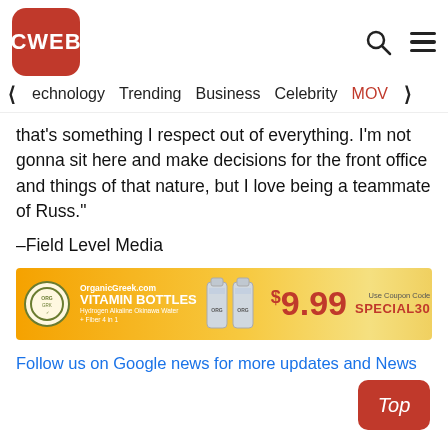CWEB
that’s something I respect out of everything. I’m not gonna sit here and make decisions for the front office and things of that nature, but I love being a teammate of Russ.”
–Field Level Media
[Figure (infographic): Advertisement banner for OrganicGreek.com Vitamin Bottles at $9.99, with coupon code SPECIAL30]
Follow us on Google news for more updates and News